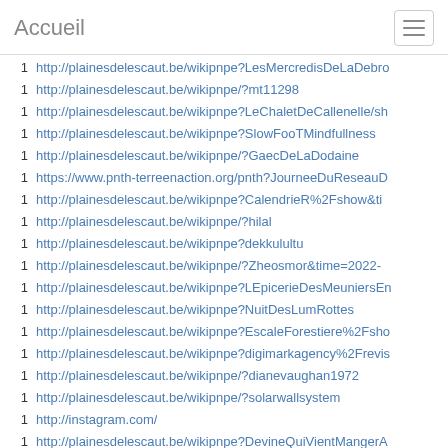Accueil
1  http://plainesdelescaut.be/wikipnpe?LesMercredisDeLaDebro
1  http://plainesdelescaut.be/wikipnpe/?mt11298
1  http://plainesdelescaut.be/wikipnpe?LeChaletDeCallenelle/sh
1  http://plainesdelescaut.be/wikipnpe?SlowFooTMindfullness
1  http://plainesdelescaut.be/wikipnpe/?GaecDeLaDodaine
1  https://www.pnth-terreenaction.org/pnth?JourneeDuReseauD
1  http://plainesdelescaut.be/wikipnpe?CalendrieR%2Fshow&ti
1  http://plainesdelescaut.be/wikipnpe/?hilal
1  http://plainesdelescaut.be/wikipnpe?dekkulultu
1  http://plainesdelescaut.be/wikipnpe/?Zheosmor&time=2022-
1  http://plainesdelescaut.be/wikipnpe?LEpicerieDesMeuniersEn
1  http://plainesdelescaut.be/wikipnpe?NuitDesLumRottes
1  http://plainesdelescaut.be/wikipnpe?EscaleForestiere%2Fsho
1  http://plainesdelescaut.be/wikipnpe?digimarkagency%2Frevis
1  http://plainesdelescaut.be/wikipnpe/?dianevaughan1972
1  http://plainesdelescaut.be/wikipnpe/?solarwallsystem
1  http://instagram.com/
1  http://plainesdelescaut.be/wikipnpe?DevineQuiVientMangerA
1  http://plainesdelescaut.be/wikipnpe/?jonemarsh12
1  http://plainesdelescaut.be/wikipnpe?AdelineVandenberghe%